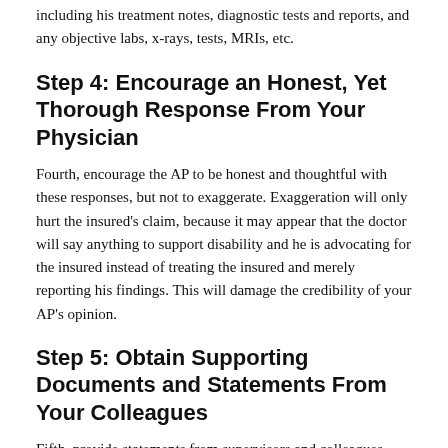including his treatment notes, diagnostic tests and reports, and any objective labs, x-rays, tests, MRIs, etc.
Step 4: Encourage an Honest, Yet Thorough Response From Your Physician
Fourth, encourage the AP to be honest and thoughtful with these responses, but not to exaggerate. Exaggeration will only hurt the insured's claim, because it may appear that the doctor will say anything to support disability and he is advocating for the insured instead of treating the insured and merely reporting his findings. This will damage the credibility of your AP's opinion.
Step 5: Obtain Supporting Documents and Statements From Your Colleagues
Fifth, provide statements from supervisors and colleagues describing the difficulties the insured